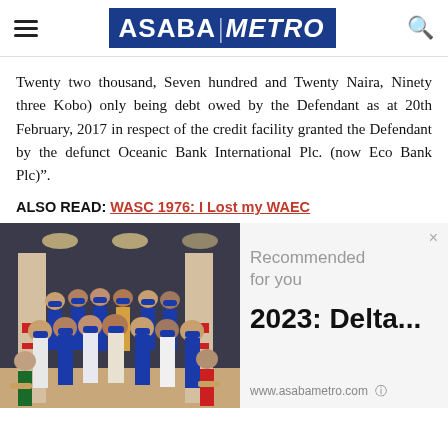ASABA METRO
Twenty two thousand, Seven hundred and Twenty Naira, Ninety three Kobo) only being debt owed by the Defendant as at 20th February, 2017 in respect of the credit facility granted the Defendant by the defunct Oceanic Bank International Plc. (now Eco Bank Plc)".
ALSO READ: WASC 1976: I Lost my WAEC
[Figure (photo): Group photo of people in a hall, many wearing blue caps and blue attire, with pillars decorated with red and white stripes in the background]
Recommended for you
2023: Delta...
www.asabametro.com